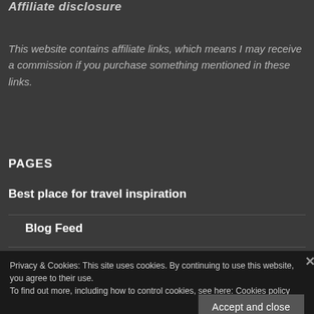Affiliate disclosure
This website contains affiliate links, which means I may receive a commission if you purchase something mentioned in these links.
PAGES
Best place for travel inspiration
Blog Feed
Privacy & Cookies: This site uses cookies. By continuing to use this website, you agree to their use.
To find out more, including how to control cookies, see here: Cookies policy
[Figure (photo): Bottom image strip showing LIPS GOODBYE text and Macy's logo branding in red tones]